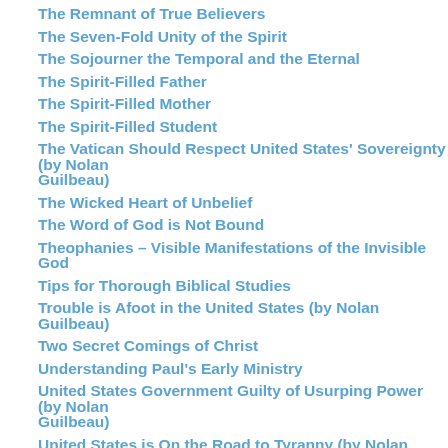The Remnant of True Believers
The Seven-Fold Unity of the Spirit
The Sojourner the Temporal and the Eternal
The Spirit-Filled Father
The Spirit-Filled Mother
The Spirit-Filled Student
The Vatican Should Respect United States' Sovereignty (by Nolan Guilbeau)
The Wicked Heart of Unbelief
The Word of God is Not Bound
Theophanies – Visible Manifestations of the Invisible God
Tips for Thorough Biblical Studies
Trouble is Afoot in the United States (by Nolan Guilbeau)
Two Secret Comings of Christ
Understanding Paul's Early Ministry
United States Government Guilty of Usurping Power (by Nolan Guilbeau)
United States is On the Road to Tyranny (by Nolan Guilbeau)
Urgent!
Valentine's Day and Mardi Gras 2010